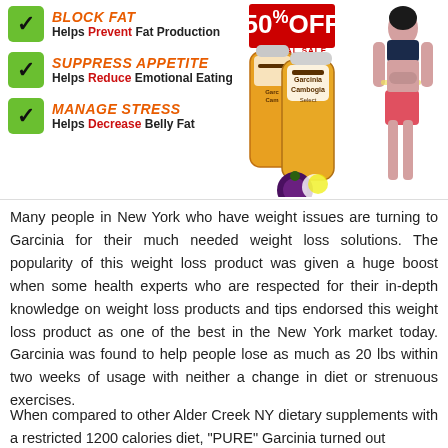[Figure (infographic): Top banner with three checkmark bullet points (Block Fat, Suppress Appetite, Manage Stress), a 50% OFF sale badge, product bottles of Garcinia Cambogia Select with fruit, and a woman measuring her waist.]
Many people in New York who have weight issues are turning to Garcinia for their much needed weight loss solutions. The popularity of this weight loss product was given a huge boost when some health experts who are respected for their in-depth knowledge on weight loss products and tips endorsed this weight loss product as one of the best in the New York market today. Garcinia was found to help people lose as much as 20 lbs within two weeks of usage with neither a change in diet or strenuous exercises.
When compared to other Alder Creek NY dietary supplements with a restricted 1200 calories diet, "PURE" Garcinia turned out